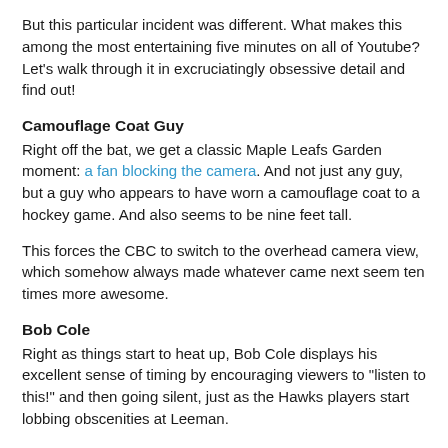But this particular incident was different. What makes this among the most entertaining five minutes on all of Youtube? Let's walk through it in excruciatingly obsessive detail and find out!
Camouflage Coat Guy
Right off the bat, we get a classic Maple Leafs Garden moment: a fan blocking the camera. And not just any guy, but a guy who appears to have worn a camouflage coat to a hockey game. And also seems to be nine feet tall.
This forces the CBC to switch to the overhead camera view, which somehow always made whatever came next seem ten times more awesome.
Bob Cole
Right as things start to heat up, Bob Cole displays his excellent sense of timing by encouraging viewers to "listen to this!" and then going silent, just as the Hawks players start lobbing obscenities at Leeman.
And by the way, how is it possible that all the Hawks players